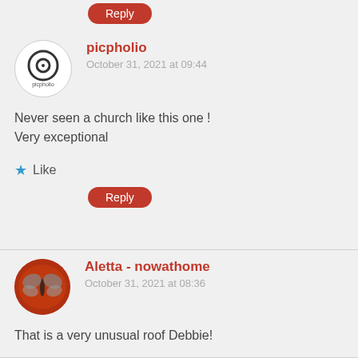Reply
picpholio
October 31, 2021 at 09:44
Never seen a church like this one !
Very exceptional
Like
Reply
Aletta - nowathome
October 31, 2021 at 08:36
That is a very unusual roof Debbie!
Like
Reply